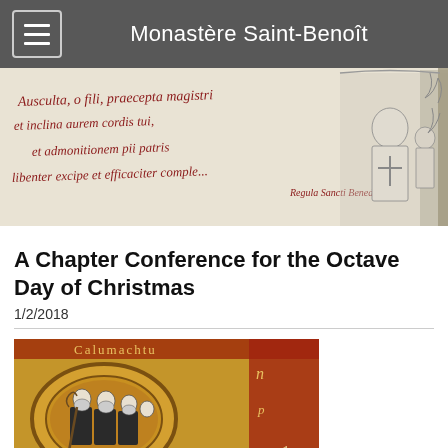Monastère Saint-Benoît
[Figure (illustration): Medieval manuscript-style banner image with calligraphic Latin text on the left reading 'Ausculta, o fili, praecepta magistri et inclina aurem cordis tui, et admonitionem pii patris libenter excipe et efficaciter comple... Regula Sancti Benedicti' and a black-and-white engraving of a bishop/abbot with monks on the right side.]
A Chapter Conference for the Octave Day of Christmas
1/2/2018
[Figure (illustration): Illuminated medieval manuscript image showing monks in black habits, with decorative gold and red border elements. A large decorative initial letter is visible with monks depicted inside or beside it.]